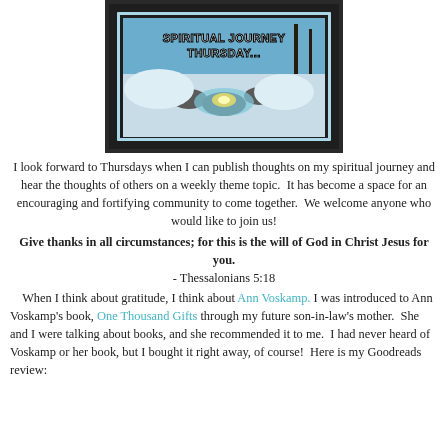[Figure (photo): A framed image with text 'SPIRITUAL JOURNEY THURSDAY...' overlaid on a winter nature scene showing a stream with snow and rocks, dark border/frame around the photo.]
I look forward to Thursdays when I can publish thoughts on my spiritual journey and hear the thoughts of others on a weekly theme topic.  It has become a space for an encouraging and fortifying community to come together.  We welcome anyone who would like to join us!
Give thanks in all circumstances; for this is the will of God in Christ Jesus for you.
- Thessalonians 5:18
When I think about gratitude, I think about Ann Voskamp. I was introduced to Ann Voskamp's book, One Thousand Gifts through my future son-in-law's mother.  She and I were talking about books, and she recommended it to me.  I had never heard of Voskamp or her book, but I bought it right away, of course!  Here is my Goodreads review: